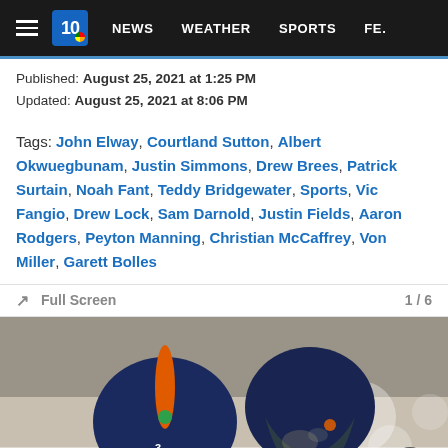NEWS  WEATHER  SPORTS  FE.
Published: August 25, 2021 at 1:25 PM
Updated: August 25, 2021 at 8:06 PM
Tags: John Elway, Courtland Sutton, Albert Okwuegbunam, Justin Simmons, Drew Brees, Patrick Surtain, Noah Fant, Teddy Bridgewater, Sports, Vic Fangio, Drew Lock, Sam Darnold, Justin Fields, Aaron Rodgers, Peyton Manning, Christian McCaffrey, Von Miller, Garett Bolles
Full Screen  1 / 6
[Figure (photo): Two Denver Broncos players wearing navy blue helmets with orange stripe, photographed from behind during practice. Background is blurred.]